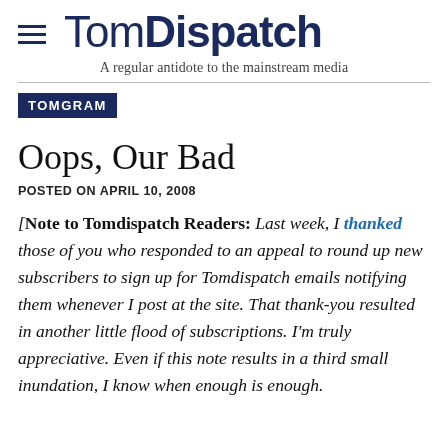TomDispatch — A regular antidote to the mainstream media
TOMGRAM
Oops, Our Bad
POSTED ON APRIL 10, 2008
[Note to Tomdispatch Readers: Last week, I thanked those of you who responded to an appeal to round up new subscribers to sign up for Tomdispatch emails notifying them whenever I post at the site. That thank-you resulted in another little flood of subscriptions. I'm truly appreciative. Even if this note results in a third small inundation, I know when enough is enough.